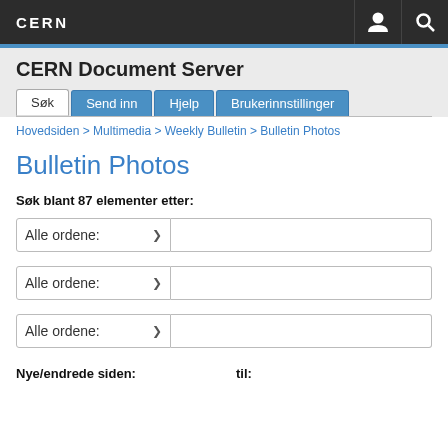CERN
CERN Document Server
Søk | Send inn | Hjelp | Brukerinnstillinger
Hovedsiden > Multimedia > Weekly Bulletin > Bulletin Photos
Bulletin Photos
Søk blant 87 elementer etter:
Alle ordene:
Alle ordene:
Alle ordene:
Nye/endrede siden:     til: